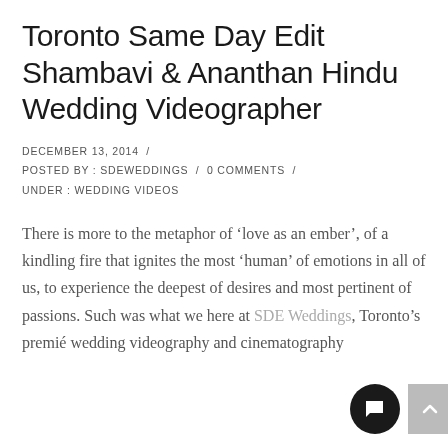Toronto Same Day Edit Shambavi & Ananthan Hindu Wedding Videographer
DECEMBER 13, 2014 / POSTED BY : SDEWEDDINGS / 0 COMMENTS / UNDER : WEDDING VIDEOS
There is more to the metaphor of ‘love as an ember’, of a kindling fire that ignites the most ‘human’ of emotions in all of us, to experience the deepest of desires and most pertinent of passions. Such was what we here at SDE Weddings, Toronto’s premié wedding videography and cinematography